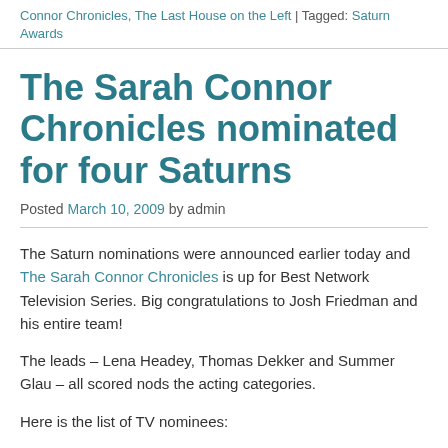Connor Chronicles, The Last House on the Left | Tagged: Saturn Awards
The Sarah Connor Chronicles nominated for four Saturns
Posted March 10, 2009 by admin
The Saturn nominations were announced earlier today and The Sarah Connor Chronicles is up for Best Network Television Series. Big congratulations to Josh Friedman and his entire team!
The leads – Lena Headey, Thomas Dekker and Summer Glau – all scored nods the acting categories.
Here is the list of TV nominees:
NETWORK TELEVISION SERIES
“Fringe”